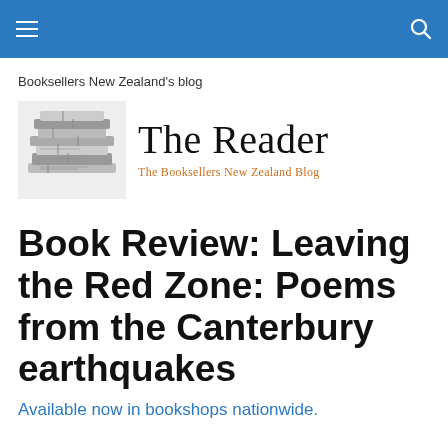Booksellers New Zealand's blog
[Figure (logo): The Reader - The Booksellers New Zealand Blog logo with stacked books illustration on the left and large serif text 'The Reader' with orange subtitle 'The Booksellers New Zealand Blog']
Book Review: Leaving the Red Zone: Poems from the Canterbury earthquakes
Available now in bookshops nationwide.